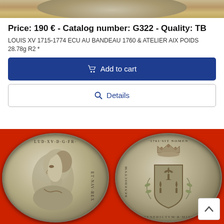[Figure (photo): Top strip showing partial view of a coin on reddish-orange background]
Price: 190 € - Catalog number: G322 - Quality: TB
LOUIS XV 1715-1774 ECU AU BANDEAU 1760 & ATELIER AIX POIDS 28.78g R2 *
Add to cart
Details
[Figure (photo): Two silver coins (obverse and reverse) of Louis XV Ecu au Bandeau 1760, displayed on red background. Left coin shows portrait of Louis XV. Right coin shows crowned shield with fleur-de-lis.]